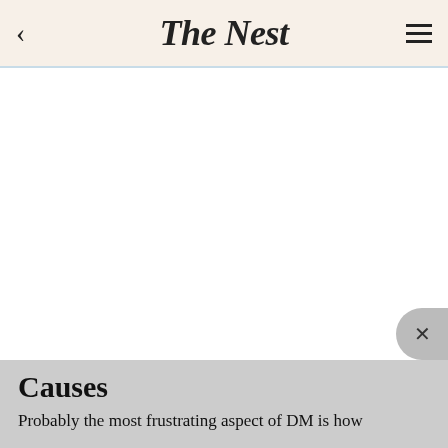The Nest
Causes
Probably the most frustrating aspect of DM is how